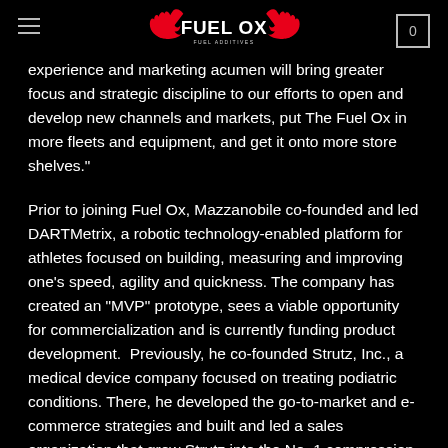Fuel Ox logo, navigation menu, cart
experience and marketing acumen will bring greater focus and strategic discipline to our efforts to open and develop new channels and markets, put The Fuel Ox in more fleets and equipment, and get it onto more store shelves."
Prior to joining Fuel Ox, Mazzanobile co-founded and led DARTMetrix, a robotic technology-enabled platform for athletes focused on building, measuring and improving one’s speed, agility and quickness. The company has created an “MVP” prototype, sees a viable opportunity for commercialization and is currently funding product development.  Previously, he co-founded Strutz, Inc., a medical device company focused on treating podiatric conditions. There, he developed the go-to-market and e-commerce strategies and built and led a sales organization that grew Strutz into the No. 1 compression arch support provider in the world, with millions sold online and full